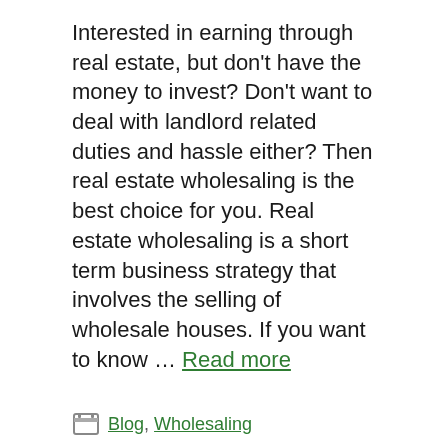Interested in earning through real estate, but don't have the money to invest? Don't want to deal with landlord related duties and hassle either? Then real estate wholesaling is the best choice for you. Real estate wholesaling is a short term business strategy that involves the selling of wholesale houses. If you want to know … Read more
Blog, Wholesaling
wholesaling houses
Should I Flip Wholesale Houses?